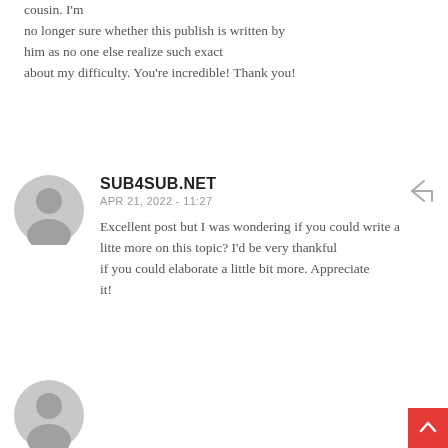cousin. I'm no longer sure whether this publish is written by him as no one else realize such exact about my difficulty. You're incredible! Thank you!
[Figure (illustration): Gray circular user avatar icon for commenter SUB4SUB.NET]
SUB4SUB.NET
APR 21, 2022 - 11:27
Excellent post but I was wondering if you could write a litte more on this topic? I'd be very thankful if you could elaborate a little bit more. Appreciate it!
[Figure (illustration): Gray circular user avatar icon at bottom of page]
[Figure (illustration): Red scroll-to-top button with upward arrow in bottom right corner]